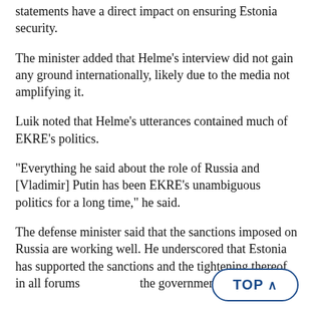statements have a direct impact on ensuring Estonia security.
The minister added that Helme's interview did not gain any ground internationally, likely due to the media not amplifying it.
Luik noted that Helme's utterances contained much of EKRE's politics.
"Everything he said about the role of Russia and [Vladimir] Putin has been EKRE's unambiguous politics for a long time," he said.
The defense minister said that the sanctions imposed on Russia are working well. He underscored that Estonia has supported the sanctions and the tightening thereof in all forums the government's policy.